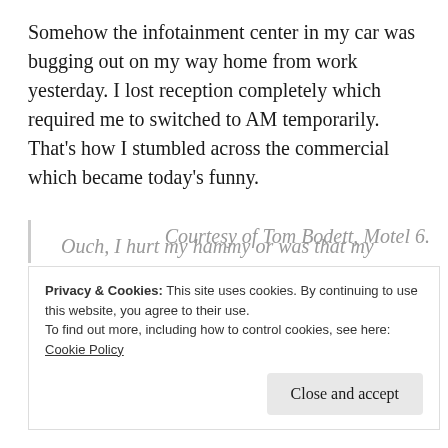Somehow the infotainment center in my car was bugging out on my way home from work yesterday.  I lost reception completely which required me to switched to AM temporarily.  That's how I stumbled across the commercial which became today's funny.
Ouch, I hurt my hammy or was that my quaddy?
Courtesy of Tom Bodett, Motel 6.
Privacy & Cookies: This site uses cookies. By continuing to use this website, you agree to their use.
To find out more, including how to control cookies, see here:
Cookie Policy
Close and accept